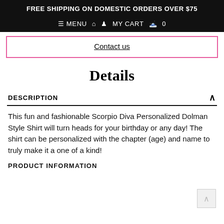FREE SHIPPING ON DOMESTIC ORDERS OVER $75
≡ MENU  🏠  👤  MY CART  🛍  0
Contact us
Details
DESCRIPTION
This fun and fashionable Scorpio Diva Personalized Dolman Style Shirt will turn heads for your birthday or any day! The shirt can be personalized with the chapter (age) and name to truly make it a one of a kind!
PRODUCT INFORMATION